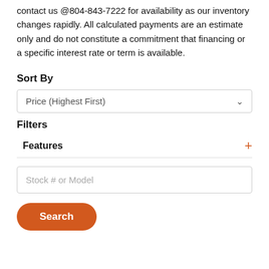contact us @804-843-7222 for availability as our inventory changes rapidly. All calculated payments are an estimate only and do not constitute a commitment that financing or a specific interest rate or term is available.
Sort By
Price (Highest First)
Filters
Features
Stock # or Model
Search